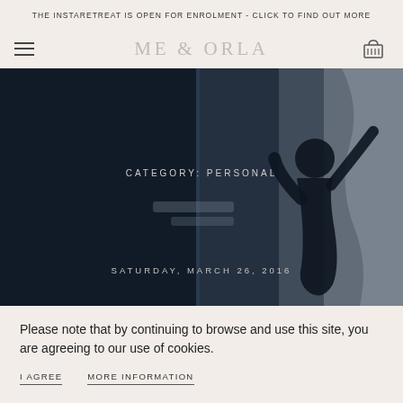THE INSTARETREAT IS OPEN FOR ENROLMENT - CLICK TO FIND OUT MORE
ME & ORLA
[Figure (photo): Dark moody photo of a person silhouetted against a window with curtains, overlaid with text 'CATEGORY: PERSONAL' and 'SATURDAY, MARCH 26, 2016']
Please note that by continuing to browse and use this site, you are agreeing to our use of cookies.
I AGREE    MORE INFORMATION